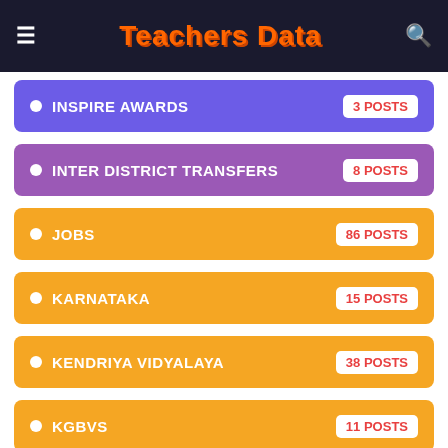Teachers Data
INSPIRE AWARDS — 3 POSTS
INTER DISTRICT TRANSFERS — 8 POSTS
JOBS — 86 POSTS
KARNATAKA — 15 POSTS
KENDRIYA VIDYALAYA — 38 POSTS
KGBVS — 11 POSTS
LATEST — 259 POSTS